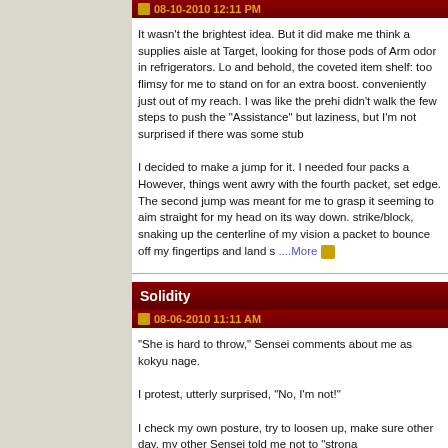08-10-2010 12:11 PM
It wasn't the brightest idea. But it did make me think a supplies aisle at Target, looking for those pods of Arm odor in refrigerators. Lo and behold, the coveted item shelf: too flimsy for me to stand on for an extra boost. conveniently just out of my reach. I was like the prehi didn't walk the few steps to push the "Assistance" but laziness, but I'm not surprised if there was some stub
I decided to make a jump for it. I needed four packs a However, things went awry with the fourth packet, set edge. The second jump was meant for me to grasp it seeming to aim straight for my head on its way down. strike/block, snaking up the centerline of my vision a packet to bounce off my fingertips and land s ...More
Solidity
08-06-2010 11:11 AM
"She is hard to throw," Sensei comments about me as kokyu nage.
I protest, utterly surprised, "No, I'm not!"
I check my own posture, try to loosen up, make sure other day, my other Sensei told me not to "strona